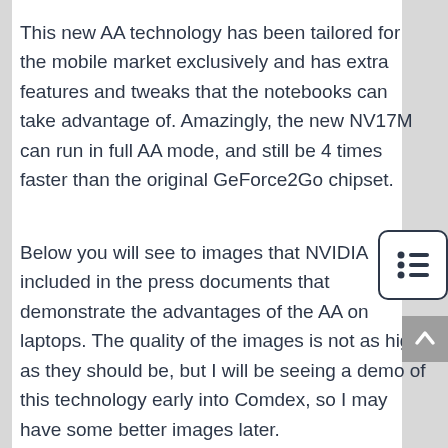This new AA technology has been tailored for the mobile market exclusively and has extra features and tweaks that the notebooks can take advantage of. Amazingly, the new NV17M can run in full AA mode, and still be 4 times faster than the original GeForce2Go chipset.
Below you will see to images that NVIDIA included in the press documents that demonstrate the advantages of the AA on laptops. The quality of the images is not as high as they should be, but I will be seeing a demo of this technology early into Comdex, so I may have some better images later.